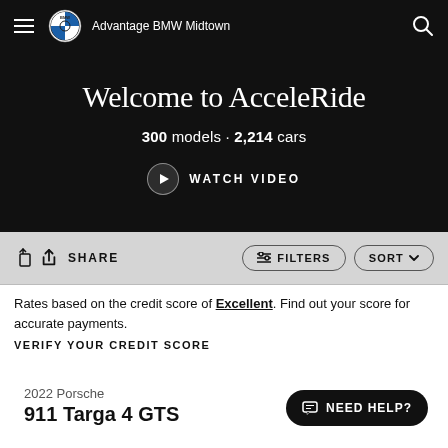Advantage BMW Midtown
Welcome to AcceleRide
300 models · 2,214 cars
WATCH VIDEO
SHARE
FILTERS
SORT
Rates based on the credit score of Excellent. Find out your score for accurate payments.
VERIFY YOUR CREDIT SCORE
2022 Porsche
911 Targa 4 GTS
NEED HELP?